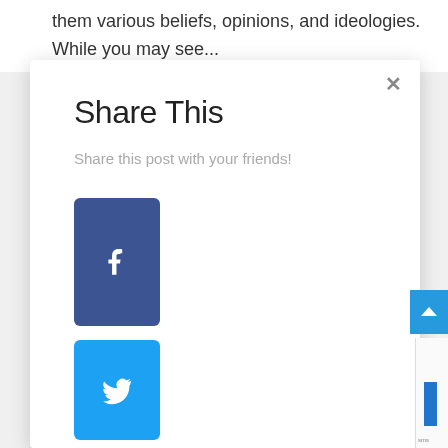them various beliefs, opinions, and ideologies. While you may see...
Share This
Share this post with your friends!
[Figure (infographic): Facebook share button (blue-purple rounded rectangle with white 'f' icon)]
[Figure (infographic): Twitter share button (sky blue rounded rectangle with white bird icon)]
[Figure (infographic): Tumblr share button (dark navy rounded rectangle with white 't' icon, partially visible at bottom)]
✕